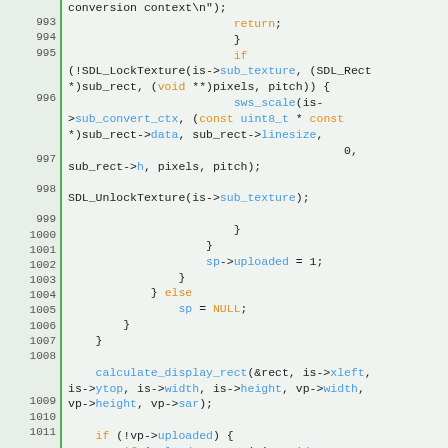[Figure (screenshot): Source code viewer showing C code lines 993-1016 with syntax highlighting. Line numbers in left column with green border. Keywords in orange, identifiers/fields in cyan/blue, rest in default color.]